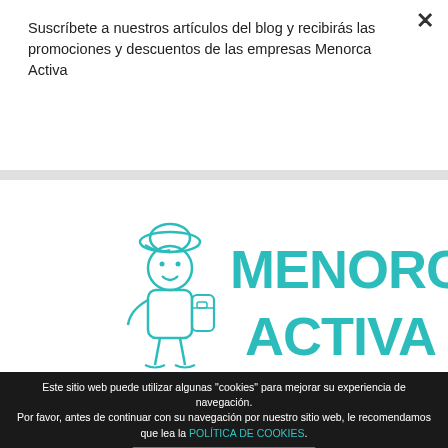Suscríbete a nuestros artículos del blog y recibirás las promociones y descuentos de las empresas Menorca Activa
Suscríbete
[Figure (logo): Menorca Activa logo with cartoon mascot character wearing a backpack and cap, with teal text reading MENORCA ACTIVA in large bold letters]
Este sitio web puede utilizar algunas "cookies" para mejorar su experiencia de navegación. Por favor, antes de continuar con su navegación por nuestro sitio web, le recomendamos que lea la POLÍTICA DE COOKIES.
Aceptar la Política de cookies